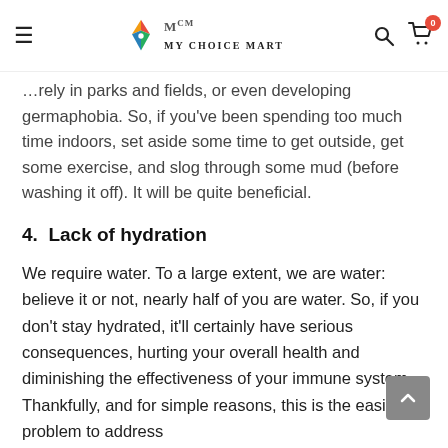My Choice Mart
…rely in parks and fields, or even developing germaphobia. So, if you've been spending too much time indoors, set aside some time to get outside, get some exercise, and slog through some mud (before washing it off). It will be quite beneficial.
4.  Lack of hydration
We require water. To a large extent, we are water: believe it or not, nearly half of you are water. So, if you don't stay hydrated, it'll certainly have serious consequences, hurting your overall health and diminishing the effectiveness of your immune system. Thankfully, and for simple reasons, this is the easiest problem to address
Simply begin to drink more water. But don't believe the